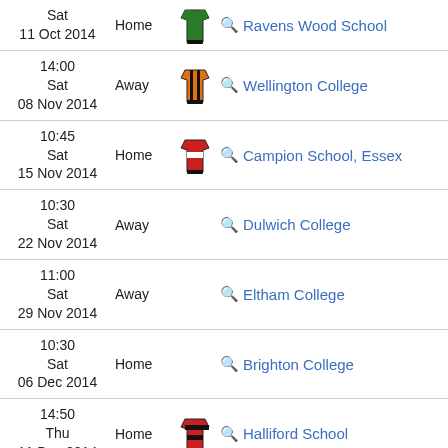| Date/Time | Venue | Kit | Opponent | Result |
| --- | --- | --- | --- | --- |
| Sat
11 Oct 2014 | Home | [kit] | Ravens Wood School |  |
| 14:00
Sat
08 Nov 2014 | Away | [kit] | Wellington College |  |
| 10:45
Sat
15 Nov 2014 | Home | [kit] | Campion School, Essex |  |
| 10:30
Sat
22 Nov 2014 | Away |  | Dulwich College |  |
| 11:00
Sat
29 Nov 2014 | Away |  | Eltham College |  |
| 10:30
Sat
06 Dec 2014 | Home |  | Brighton College |  |
| 14:50
Thu
11 Dec 2014 | Home | [kit] | Halliford School |  |
| 11:00
Sat | Away |  | Portsmouth Grammar School |  |